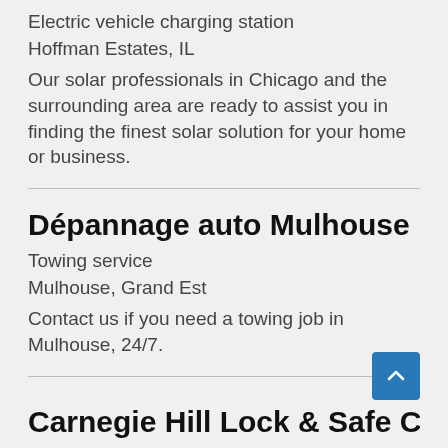Electric vehicle charging station
Hoffman Estates, IL
Our solar professionals in Chicago and the surrounding area are ready to assist you in finding the finest solar solution for your home or business.
Dépannage auto Mulhouse
Towing service
Mulhouse, Grand Est
Contact us if you need a towing job in Mulhouse, 24/7.
Carnegie Hill Lock & Safe Co